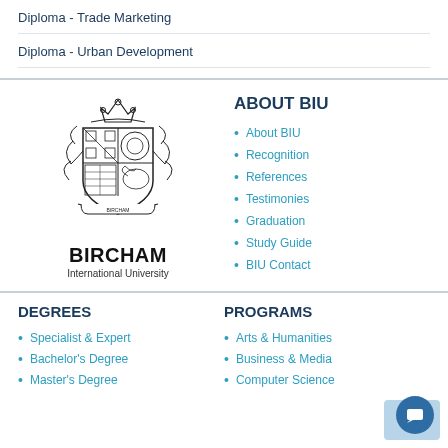Diploma - Trade Marketing
Diploma - Urban Development
[Figure (logo): Bircham International University crest/coat of arms logo with text BIRCHAM International University below]
ABOUT BIU
About BIU
Recognition
References
Testimonies
Graduation
Study Guide
BIU Contact
DEGREES
PROGRAMS
Specialist & Expert
Bachelor's Degree
Master's Degree
Arts & Humanities
Business & Media
Computer Science